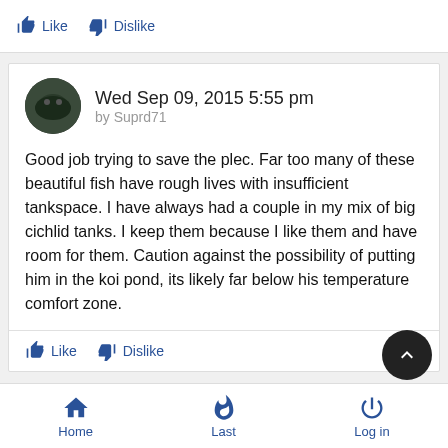Like   Dislike
Wed Sep 09, 2015 5:55 pm
by Suprd71
Good job trying to save the plec. Far too many of these beautiful fish have rough lives with insufficient tankspace. I have always had a couple in my mix of big cichlid tanks. I keep them because I like them and have room for them. Caution against the possibility of putting him in the koi pond, its likely far below his temperature comfort zone.
Like   Dislike
Home   Last   Log in